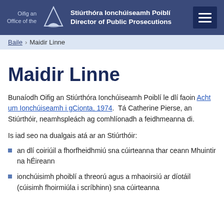Oifig an / Office of the | Stiúrthóra Ionchúiseamh Poiblí / Director of Public Prosecutions
Baile › Maidir Linne
Maidir Linne
Bunaíodh Oifig an Stiúrthóra Ionchúiseamh Poiblí le dlí faoin Acht um Ionchúiseamh i gCionta, 1974.  Tá Catherine Pierse, an Stiúrthóir, neamhspleách ag comhlíonadh a feidhmeanna di.
Is iad seo na dualgais atá ar an Stiúrthóir:
an dlí coiriúil a fhorfheidhmiú sna cúirteanna thar ceann Mhuintir na hÉireann
ionchúisimh phoiblí a threorú agus a mhaoirsiú ar díotáil (cúisimh fhoirmiúla i scríbhinn) sna cúirteanna